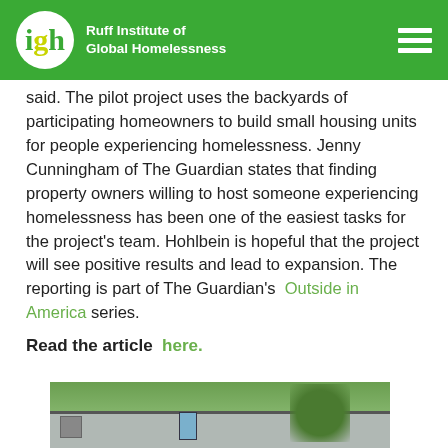Ruff Institute of Global Homelessness
said. The pilot project uses the backyards of participating homeowners to build small housing units for people experiencing homelessness. Jenny Cunningham of The Guardian states that finding property owners willing to host someone experiencing homelessness has been one of the easiest tasks for the project's team. Hohlbein is hopeful that the project will see positive results and lead to expansion. The reporting is part of The Guardian's Outside in America series.
Read the article here.
[Figure (photo): Photo of a small housing unit with trees in the background]